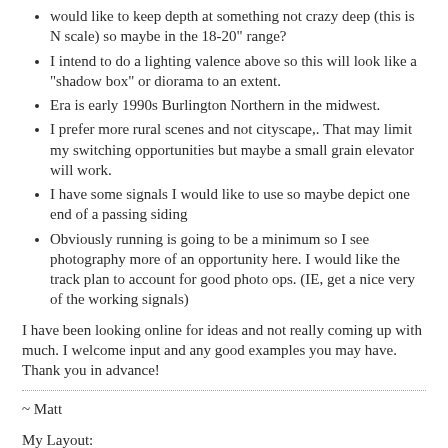would like to keep depth at something not crazy deep (this is N scale) so maybe in the 18-20" range?
I intend to do a lighting valence above so this will look like a "shadow box" or diorama to an extent.
Era is early 1990s Burlington Northern in the midwest.
I prefer more rural scenes and not cityscape,. That may limit my switching opportunities but maybe a small grain elevator will work.
I have some signals I would like to use so maybe depict one end of a passing siding
Obviously running is going to be a minimum so I see photography more of an opportunity here. I would like the track plan to account for good photo ops. (IE, get a nice very of the working signals)
I have been looking online for ideas and not really coming up with much. I welcome input and any good examples you may have. Thank you in advance!
~ Matt
My Layout:
Nebraska & Southwestern Railroad